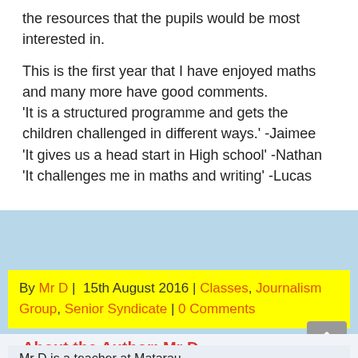the resources that the pupils would be most interested in.

This is the first year that I have enjoyed maths and many more have good comments.
'It is a structured programme and gets the children challenged in different ways.' -Jaimee
'It gives us a head start in High school' -Nathan
'It challenges me in maths and writing' -Lucas
By Mr D | 15th August 2016 | Classes, Journalism Group, Senior Syndicate | 0 Comments
About the Author: Mr D
Mr D is a teacher at Matarau